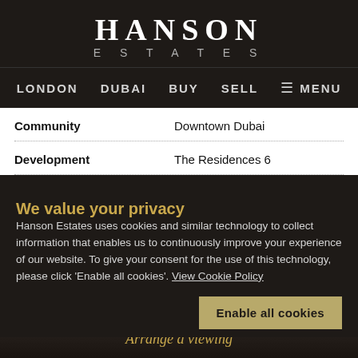HANSON ESTATES
LONDON  DUBAI  BUY  SELL  ≡ MENU
| Field | Value |
| --- | --- |
| Community | Downtown Dubai |
| Development | The Residences 6 |
CONTACT
Listing Agent  Aaron Comlar...
We value your privacy
Hanson Estates uses cookies and similar technology to collect information that enables us to continuously improve your experience of our website. To give your consent for the use of this technology, please click 'Enable all cookies'. View Cookie Policy
aaron@hansonestates.com
Enable all cookies
Arrange a viewing